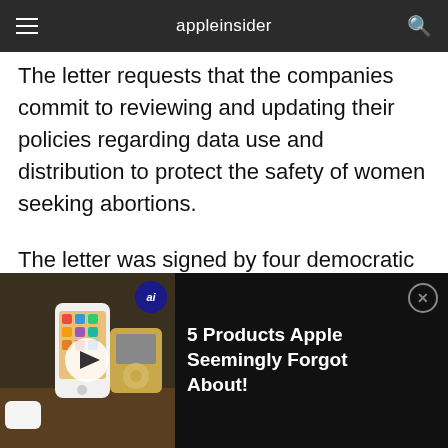appleinsider
The letter requests that the companies commit to reviewing and updating their policies regarding data use and distribution to protect the safety of women seeking abortions.
The letter was signed by four democratic senators, including Edward Markey and Elizabeth Warren of Massachusetts, Cory Booker of New Jersey, Ron Wyden of Oregon, and independent senator Bernie Sanders, an
[Figure (screenshot): Video ad thumbnail showing Apple devices including an iPod touch and iPod mini on a table]
5 Products Apple Seemingly Forgot About!